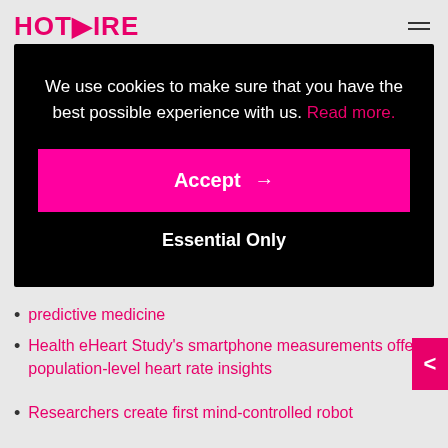HOTWIRE
new national agreement is part of our commitment to refresh NHS Wales IT infrastructure and ensure it
[Figure (screenshot): Cookie consent overlay on dark/black background with text: 'We use cookies to make sure that you have the best possible experience with us. Read more.' followed by a pink Accept button with arrow and 'Essential Only' text button.]
predictive medicine
Health eHeart Study's smartphone measurements offer population-level heart rate insights
Researchers create first mind-controlled robot